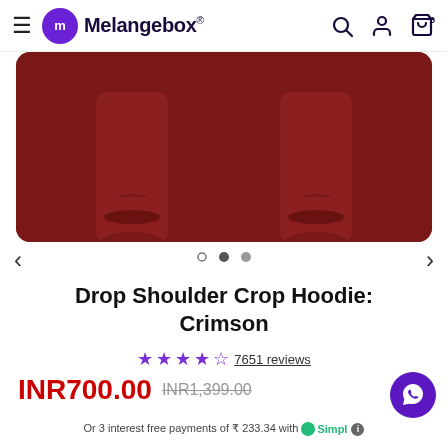Melangebox®
[Figure (photo): Product image of a crimson/dark red crop hoodie showing two sleeves against a dark red background]
Drop Shoulder Crop Hoodie: Crimson
★★★★½ 7651 reviews
INR700.00 INR1,399.00
Or 3 interest free payments of ₹ 233.34 with Simpl ℹ